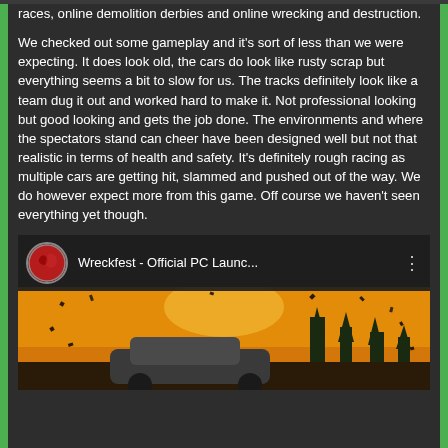races, online demolition derbies and online wrecking and destruction.
We checked out some gameplay and it's sort of less than we were expecting. It does look old, the cars do look like rusty scrap but everything seems a bit to slow for us. The tracks definitely look like a team dug it out and worked hard to make it. Not professional looking but good looking and gets the job done. The environments and where the spectators stand can cheer have been designed well but not that realistic in terms of health and safety. It's definitely rough racing as multiple cars are getting hit, slammed and pushed out of the way. We do however expect more from this game. Off course we haven't seen everything yet though.
[Figure (screenshot): YouTube video embed showing 'Wreckfest - Official PC Launc...' with a thumbnail of a car with explosion/debris in a sunset scene.]